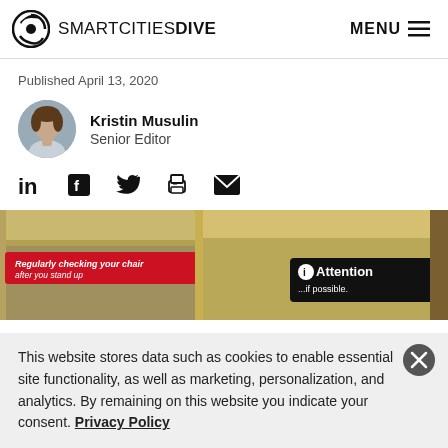SMARTCITIESDIVE | MENU
Published April 13, 2020
Kristin Musulin
Senior Editor
[Figure (other): Social sharing icons: LinkedIn, Facebook, Twitter, Print, Email]
[Figure (photo): Interior of a subway/transit car showing a red banner reading 'Regularly checking your chair after you stand up' and a black sign reading 'Attention ... if possible.']
This website stores data such as cookies to enable essential site functionality, as well as marketing, personalization, and analytics. By remaining on this website you indicate your consent. Privacy Policy